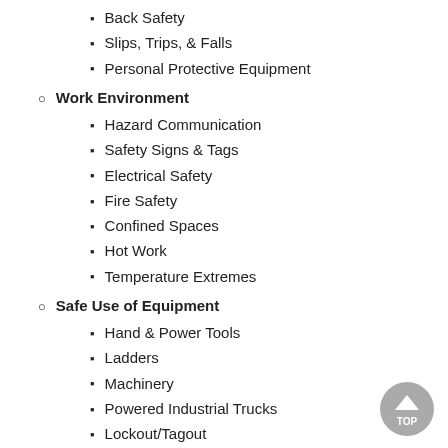Back Safety
Slips, Trips, & Falls
Personal Protective Equipment
Work Environment
Hazard Communication
Safety Signs & Tags
Electrical Safety
Fire Safety
Confined Spaces
Hot Work
Temperature Extremes
Safe Use of Equipment
Hand & Power Tools
Ladders
Machinery
Powered Industrial Trucks
Lockout/Tagout